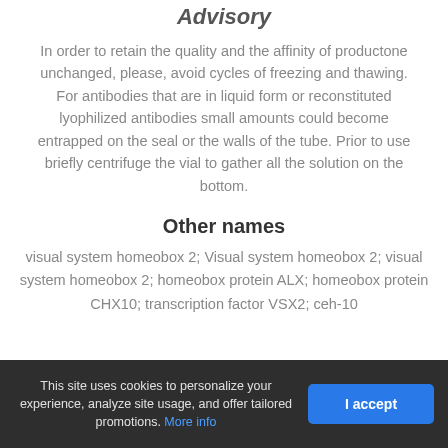Advisory
In order to retain the quality and the affinity of productone unchanged, please, avoid cycles of freezing and thawing. For antibodies that are in liquid form or reconstituted lyophilized antibodies small amounts could become entrapped on the seal or the walls of the tube. Prior to use briefly centrifuge the vial to gather all the solution on the bottom.
Other names
visual system homeobox 2; Visual system homeobox 2; visual system homeobox 2; homeobox protein ALX; homeobox protein CHX10; transcription factor VSX2; ceh-10
This site uses cookies to personalize your experience, analyze site usage, and offer tailored promotions. More info